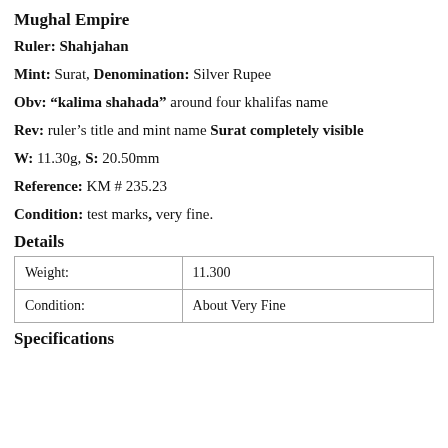Mughal Empire
Ruler: Shahjahan
Mint: Surat, Denomination: Silver Rupee
Obv: "kalima shahada" around four khalifas name
Rev: ruler's title and mint name Surat completely visible
W: 11.30g, S: 20.50mm
Reference: KM # 235.23
Condition: test marks, very fine.
Details
| Weight: | 11.300 |
| Condition: | About Very Fine |
Specifications